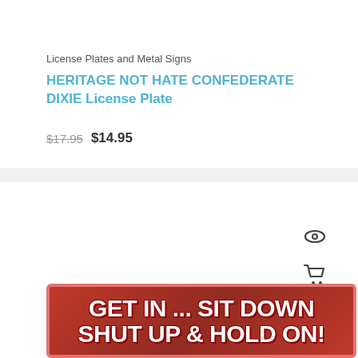License Plates and Metal Signs
HERITAGE NOT HATE CONFEDERATE DIXIE License Plate
$17.95  $14.95
[Figure (screenshot): Product listing screenshot showing a red license plate sign with bold white text reading GET IN ... SIT DOWN SHUT UP & HOLD ON! with quick-view eye icon and cart icon overlaid]
GET IN ... SIT DOWN SHUT UP & HOLD ON!